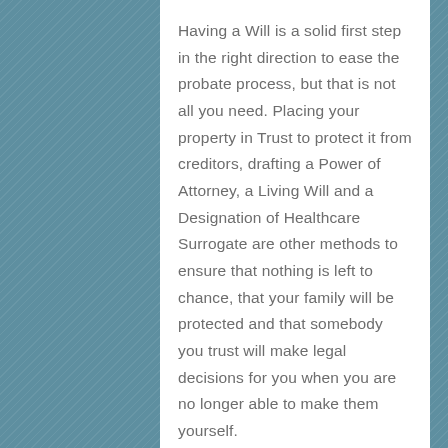Having a Will is a solid first step in the right direction to ease the probate process, but that is not all you need. Placing your property in Trust to protect it from creditors, drafting a Power of Attorney, a Living Will and a Designation of Healthcare Surrogate are other methods to ensure that nothing is left to chance, that your family will be protected and that somebody you trust will make legal decisions for you when you are no longer able to make them yourself.
An attorney that specializes in estate planning can help explain the legal tools that are available to each individual depending on their financial situation and their specific